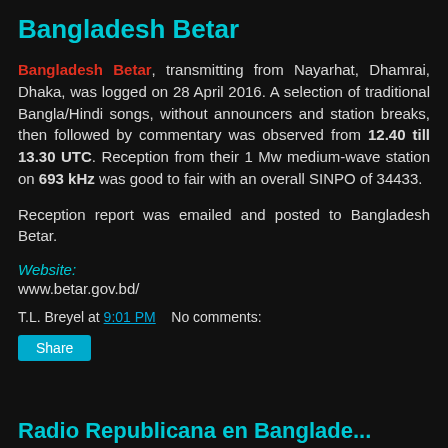Bangladesh Betar
Bangladesh Betar, transmitting from Nayarhat, Dhamrai, Dhaka, was logged on 28 April 2016. A selection of traditional Bangla/Hindi songs, without announcers and station breaks, then followed by commentary was observed from 12.40 till 13.30 UTC. Reception from their 1 Mw medium-wave station on 693 kHz was good to fair with an overall SINPO of 34433.
Reception report was emailed and posted to Bangladesh Betar.
Website:
www.betar.gov.bd/
T.L. Breyel at 9:01 PM    No comments:
Radio Republicana en Bangladesh